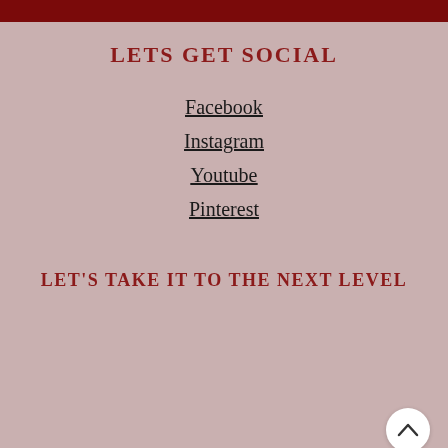LETS GET SOCIAL
Facebook
Instagram
Youtube
Pinterest
LET'S TAKE IT TO THE NEXT LEVEL
[Figure (other): Email input field with placeholder text 'Email*' and a Submit button below it, styled with rounded corners and dark red colors. A scroll-up arrow button appears at bottom right.]